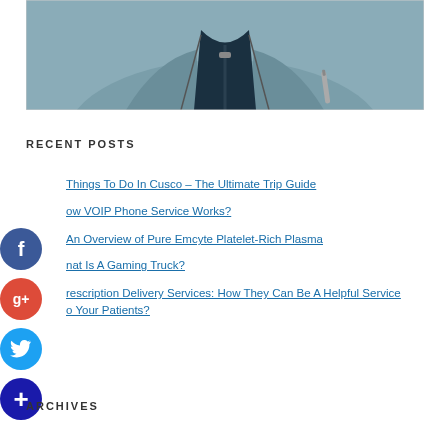[Figure (photo): Close-up photo of a person wearing a grey zip-up jacket over a dark navy shirt, with a pen clipped to the pocket]
RECENT POSTS
Things To Do In Cusco – The Ultimate Trip Guide
How VOIP Phone Service Works?
An Overview of Pure Emcyte Platelet-Rich Plasma
What Is A Gaming Truck?
Prescription Delivery Services: How They Can Be A Helpful Service To Your Patients?
ARCHIVES